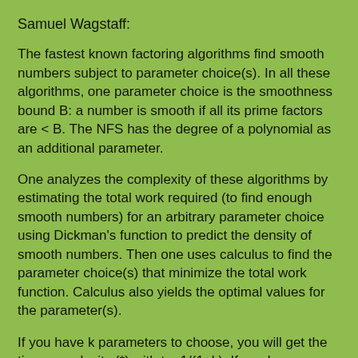Samuel Wagstaff:
The fastest known factoring algorithms find smooth numbers subject to parameter choice(s). In all these algorithms, one parameter choice is the smoothness bound B: a number is smooth if all its prime factors are < B. The NFS has the degree of a polynomial as an additional parameter.
One analyzes the complexity of these algorithms by estimating the total work required (to find enough smooth numbers) for an arbitrary parameter choice using Dickman's function to predict the density of smooth numbers. Then one uses calculus to find the parameter choice(s) that minimize the total work function. Calculus also yields the optimal values for the parameter(s).
If you have k parameters to choose, you will get the time complexity (*) with t = 1/(1+k). If you have no parameters (k = 0),you get (*) with t = 1, basically exponential time N^c. With one parameter to optimize, as in CFRAC (continued fractions algorithm) and QS, you get t = 1/2. NFS has two